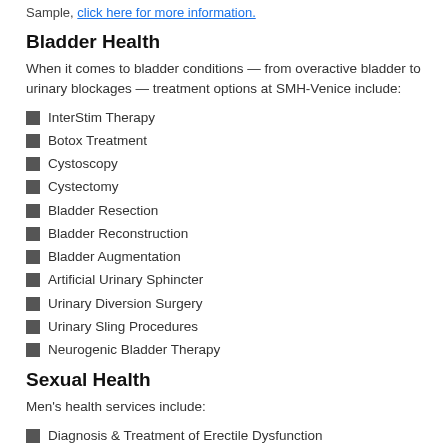Sample, click here for more information.
Bladder Health
When it comes to bladder conditions — from overactive bladder to urinary blockages — treatment options at SMH-Venice include:
InterStim Therapy
Botox Treatment
Cystoscopy
Cystectomy
Bladder Resection
Bladder Reconstruction
Bladder Augmentation
Artificial Urinary Sphincter
Urinary Diversion Surgery
Urinary Sling Procedures
Neurogenic Bladder Therapy
Sexual Health
Men's health services include:
Diagnosis & Treatment of Erectile Dysfunction
Retroperitoneal Lymph Node Dissection
Artificial Testicle Implantation
Penile Implants
Penile Reconstruction